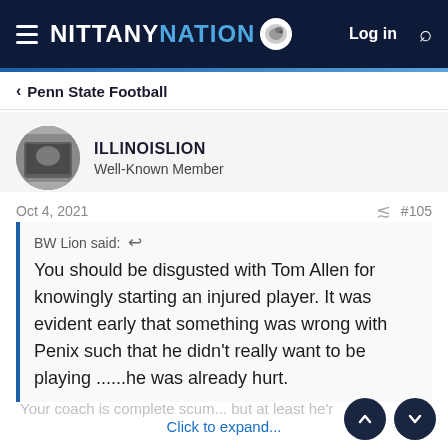NITTANY NATION — Log in
Penn State Football
ILLINOISLION
Well-Known Member
Oct 4, 2021  #105
BW Lion said: ↩

You should be disgusted with Tom Allen for knowingly starting an injured player. It was evident early that something was wrong with Penix such that he didn't really want to be playing ......he was already hurt.
Your coach is complete scum... but at least he'r
Click to expand...